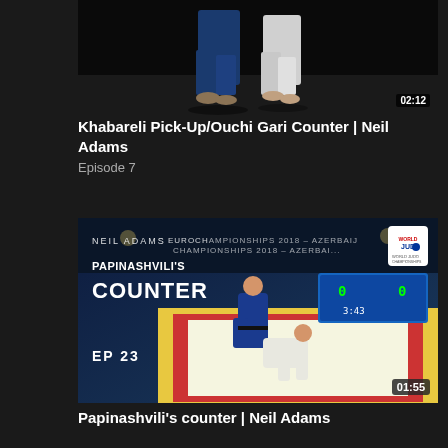[Figure (screenshot): Video thumbnail showing two judo athletes in blue and white gi on dark mat, top legs visible. Duration badge shows 02:12.]
Khabareli Pick-Up/Ouchi Gari Counter | Neil Adams
Episode 7
[Figure (screenshot): Video thumbnail showing judo match at Euro Championships 2018 Azerbaijan. Text overlay: NEIL ADAMS, PAPINASHVILI'S COUNTER, EP 23. World Judo badge top right. Duration badge 01:55.]
Papinashvili's counter | Neil Adams